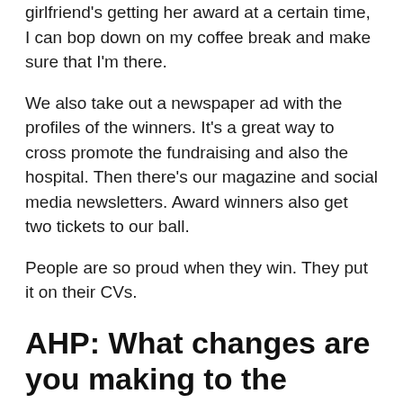girlfriend's getting her award at a certain time, I can bop down on my coffee break and make sure that I'm there.
We also take out a newspaper ad with the profiles of the winners. It's a great way to cross promote the fundraising and also the hospital. Then there's our magazine and social media newsletters. Award winners also get two tickets to our ball.
People are so proud when they win. They put it on their CVs.
AHP: What changes are you making to the award ceremony in light of the pandemic?
Kim: We've learned that if possible it's best to have the winners and sponsors there in person, but